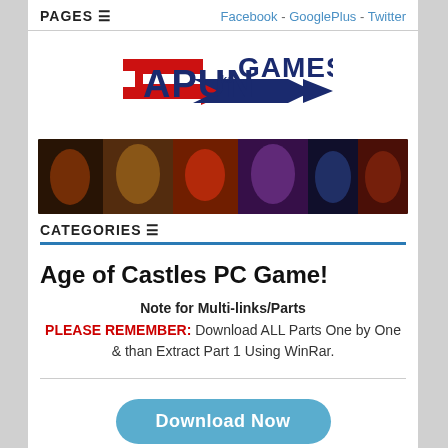PAGES ☰   Facebook - GooglePlus - Twitter
[Figure (logo): CapunKa Games logo with red and dark blue arrow shapes and text]
[Figure (photo): Banner image showing various fighting game characters and scenes]
CATEGORIES ☰
Age of Castles PC Game!
Note for Multi-links/Parts
PLEASE REMEMBER: Download ALL Parts One by One & than Extract Part 1 Using WinRar.
Download Now